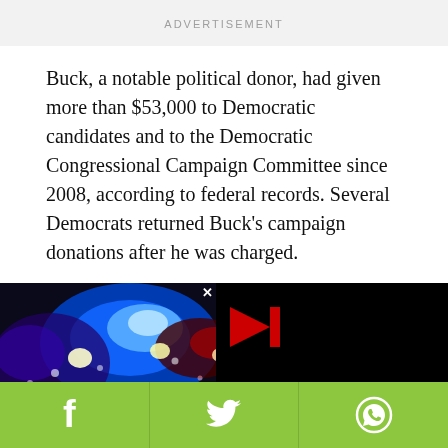ADVERTISEMENT
Buck, a notable political donor, had given more than $53,000 to Democratic candidates and to the Democratic Congressional Campaign Committee since 2008, according to federal records. Several Democrats returned Buck's campaign donations after he was charged.
[Figure (photo): Police lights at night with blue and red flashing lights, with a video player overlay showing a play button and loading circle, and an x close button]
[Figure (infographic): Social sharing bar with green background containing Facebook, Twitter, and WhatsApp icons]